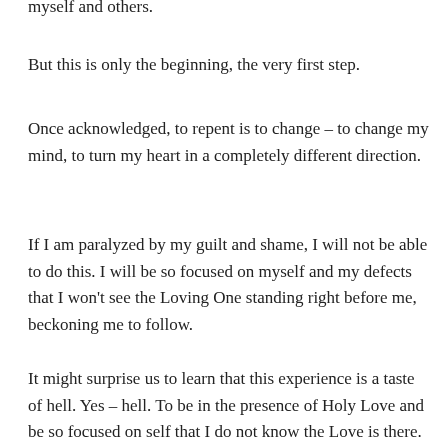myself and others.
But this is only the beginning, the very first step.
Once acknowledged, to repent is to change – to change my mind, to turn my heart in a completely different direction.
If I am paralyzed by my guilt and shame, I will not be able to do this. I will be so focused on myself and my defects that I won't see the Loving One standing right before me, beckoning me to follow.
It might surprise us to learn that this experience is a taste of hell. Yes – hell. To be in the presence of Holy Love and be so focused on self that I do not know the Love is there.